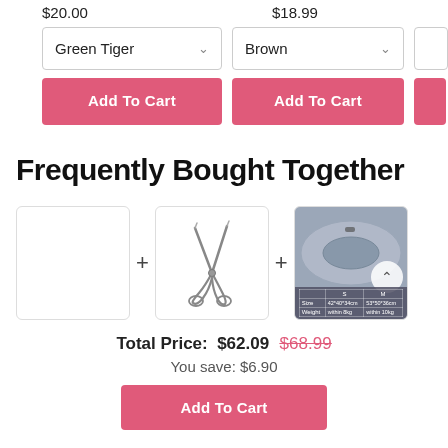$20.00
$18.99
Green Tiger (dropdown)
Brown (dropdown)
Add To Cart (button 1)
Add To Cart (button 2)
Frequently Bought Together
[Figure (photo): Empty white product image box]
[Figure (photo): Hair scissors/shears product image]
[Figure (photo): Gray donut neck pillow with size chart table at bottom]
Total Price: $62.09 $68.99
You save: $6.90
Add To Cart (bottom button)